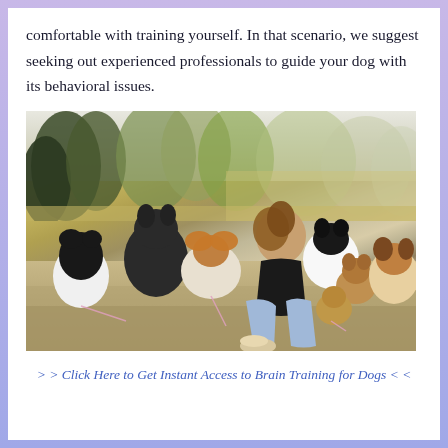comfortable with training yourself. In that scenario, we suggest seeking out experienced professionals to guide your dog with its behavioral issues.
[Figure (photo): A woman sitting on the ground outdoors surrounded by six or seven dogs of various breeds in a park or field setting with trees in the background.]
> > Click Here to Get Instant Access to Brain Training for Dogs < <